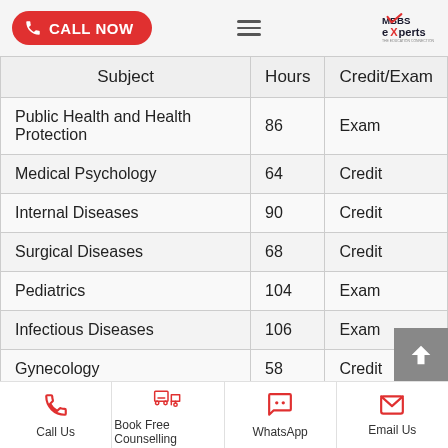CALL NOW | MBBS Experts
| Subject | Hours | Credit/Exam |
| --- | --- | --- |
| Public Health and Health Protection | 86 | Exam |
| Medical Psychology | 64 | Credit |
| Internal Diseases | 90 | Credit |
| Surgical Diseases | 68 | Credit |
| Pediatrics | 104 | Exam |
| Infectious Diseases | 106 | Exam |
| Gynecology | 58 | Credit |
Call Us | Book Free Counselling | WhatsApp | Email Us